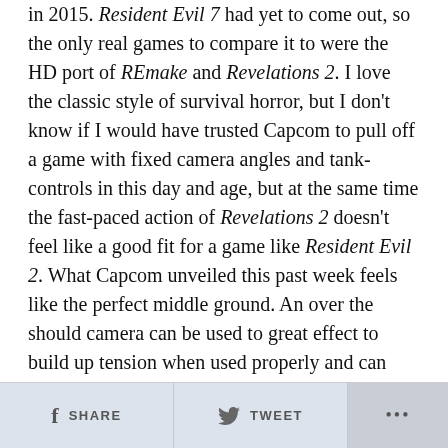in 2015. Resident Evil 7 had yet to come out, so the only real games to compare it to were the HD port of REmake and Revelations 2. I love the classic style of survival horror, but I don't know if I would have trusted Capcom to pull off a game with fixed camera angles and tank-controls in this day and age, but at the same time the fast-paced action of Revelations 2 doesn't feel like a good fit for a game like Resident Evil 2. What Capcom unveiled this past week feels like the perfect middle ground. An over the should camera can be used to great effect to build up tension when used properly and can create some interesting situations when combined with the tight corridors of the Raccoon Police Department,
SHARE   TWEET   ...